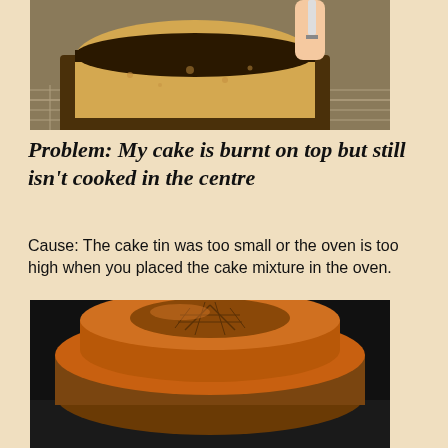[Figure (photo): A loaf cake with a dark burnt top crust being sliced on a wire cooling rack, with a hand holding a knife visible at upper right.]
Problem: My cake is burnt on top but still isn't cooked in the centre
Cause: The cake tin was too small or the oven is too high when you placed the cake mixture in the oven.
[Figure (photo): A round cake with a dark burnt, raised, cracked top sitting in a black baking tin inside an oven.]